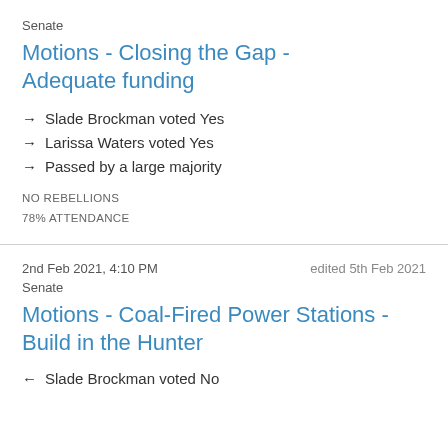Senate
Motions - Closing the Gap - Adequate funding
→ Slade Brockman voted Yes
→ Larissa Waters voted Yes
→ Passed by a large majority
NO REBELLIONS
78% ATTENDANCE
2nd Feb 2021, 4:10 PM
edited 5th Feb 2021
Senate
Motions - Coal-Fired Power Stations - Build in the Hunter
← Slade Brockman voted No